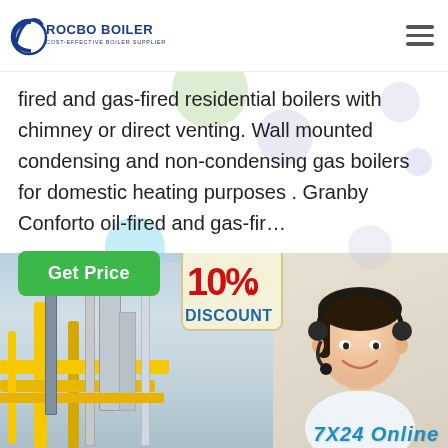ROCBO BOILER - COST-EFFECTIVE BOILER SUPPLIER
fired and gas-fired residential boilers with chimney or direct venting. Wall mounted condensing and non-condensing gas boilers for domestic heating purposes . Granby Conforto oil-fired and gas-fir...
Get Price
[Figure (photo): Industrial boiler/pipe facility on the left with yellow pipes and equipment. On the right, a customer service representative with headset smiling, with a 10% DISCOUNT sign hanging above and '7X24 Online' text at the bottom.]